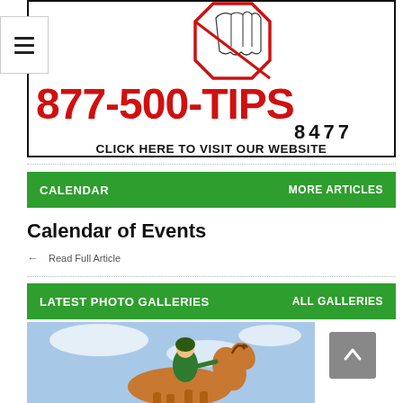[Figure (logo): Banner advertisement showing a stop-hand icon at top, large red text '877-500-TIPS', '8477' below in black, and 'CLICK HERE TO VISIT OUR WEBSITE' in bold black text at the bottom.]
CALENDAR    MORE ARTICLES
Calendar of Events
← Read Full Article
LATEST PHOTO GALLERIES    ALL GALLERIES
[Figure (photo): Photo of a person in a green jacket riding a brown horse, jumping, against a cloudy blue sky background.]